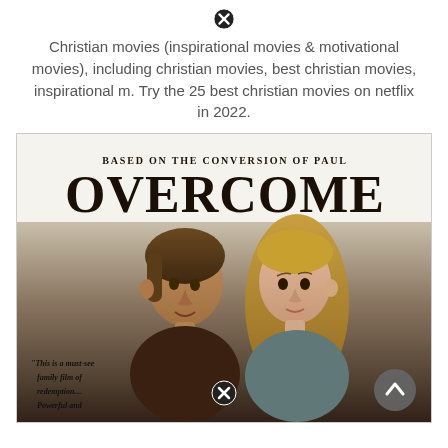[Figure (other): Close/X button icon at top center of page]
Christian movies (inspirational movies & motivational movies), including christian movies, best christian movies, inspirational m. Try the 25 best christian movies on netflix in 2022.
[Figure (photo): Movie poster for 'Overcome' — a Christian film based on the Conversion of Paul. Shows two young people (a teenage boy and girl) standing back to back. Text on poster reads: 'BASED ON THE CONVERSION OF PAUL' and 'OVERCOME'. Quote at bottom left: 'This is a must-see family film of redemption.... Powerful and'. A close/X button appears at the bottom center and a scroll-to-top arrow button at the bottom right.]